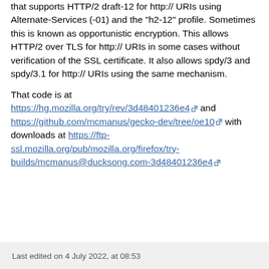that supports HTTP/2 draft-12 for http:// URIs using Alternate-Services (-01) and the "h2-12" profile. Sometimes this is known as opportunistic encryption. This allows HTTP/2 over TLS for http:// URIs in some cases without verification of the SSL certificate. It also allows spdy/3 and spdy/3.1 for http:// URIs using the same mechanism.
That code is at https://hg.mozilla.org/try/rev/3d48401236e4 and https://github.com/mcmanus/gecko-dev/tree/oe10 with downloads at https://ftp-ssl.mozilla.org/pub/mozilla.org/firefox/try-builds/mcmanus@ducksong.com-3d48401236e4
Last edited on 4 July 2022, at 08:53